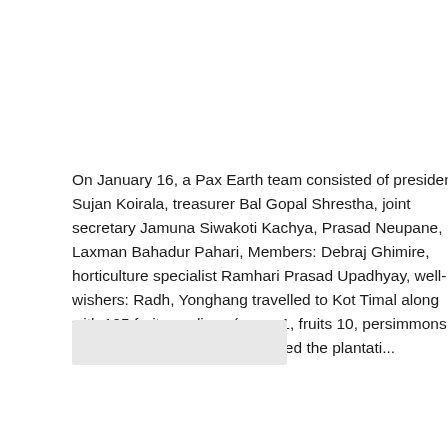On January 16, a Pax Earth team consisted of president Sujan Koirala, treasurer Bal Gopal Shrestha, joint secretary Jamuna Siwakoti Kachya, Prasad Neupane, Laxman Bahadur Pahari, Members: Debraj Ghimire, horticulture specialist Ramhari Prasad Upadhyay, well-wishers: Radh, Yonghang travelled to Kot Timal along with 195 fruits saplings (pears 1, fruits 10, persimmons 5 and pecan nuts 5) and conducted the plantati...
[Figure (photo): A blurred/redacted photograph, partially obscured, showing an outdoor scene.]